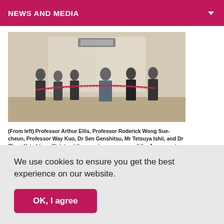NEWS AND MEDIA
[Figure (photo): Group of professors and officials officiating at the opening ceremony of a Japanese tea room at CityU, cutting a ribbon indoors.]
(From left) Professor Arthur Ellis, Professor Roderick Wong Sue-cheun, Professor Way Kuo, Dr Sen Genshitsu, Mr Tetsuya Ishii, and Dr Chow Yei-ching officiate at the opening ceremony of the Japanese tea room at CityU.
12 MAR 2013
ABOUT CITYU
We use cookies to ensure you get the best experience on our website.
OK, I agree